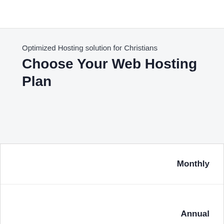Optimized Hosting solution for Christians
Choose Your Web Hosting Plan
|  | Monthly | Annual |
| --- | --- | --- |
|  | Monthly | Annual |